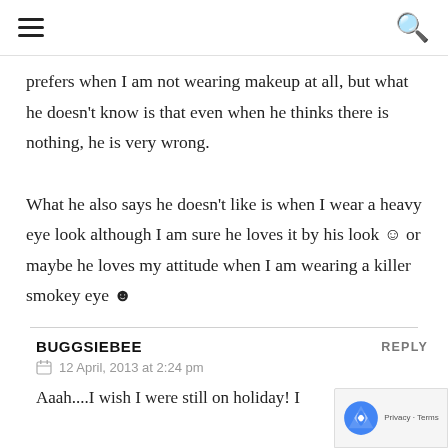[hamburger menu icon] [search icon]
prefers when I am not wearing makeup at all, but what he doesn't know is that even when he thinks there is nothing, he is very wrong.
What he also says he doesn't like is when I wear a heavy eye look although I am sure he loves it by his look ☺ or maybe he loves my attitude when I am wearing a killer smokey eye ☻
BUGGSIEBEE
REPLY
12 April, 2013 at 2:24 pm
Aaah....I wish I were still on holiday! I